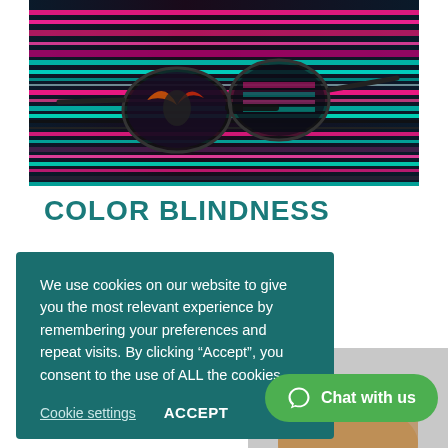[Figure (photo): Close-up photograph of reflective sunglasses with colorful neon horizontal light streaks reflected, on a dark background with vivid pink, teal, and multicolor stripes]
COLOR BLINDNESS
We use cookies on our website to give you the most relevant experience by remembering your preferences and repeat visits. By clicking “Accept”, you consent to the use of ALL the cookies.
Cookie settings
ACCEPT
[Figure (photo): Partial view of a person visible at the bottom right corner, on a grey/white background]
Chat with us